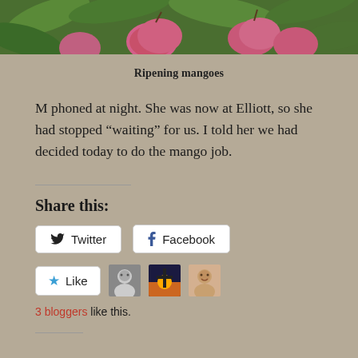[Figure (photo): Close-up photo of ripening mangoes hanging from a tree with green leaves, cropped at top]
Ripening mangoes
M phoned at night. She was now at Elliott, so she had stopped “waiting” for us. I told her we had decided today to do the mango job.
[Figure (infographic): Share this section with Twitter and Facebook buttons, Like button with 3 blogger avatars, and text '3 bloggers like this.']